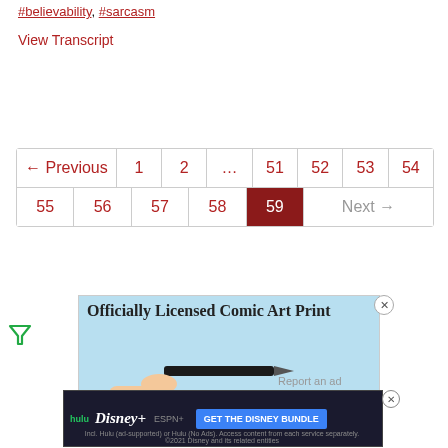#believability, #sarcasm
View Transcript
| ← Previous | 1 | 2 | … | 51 | 52 | 53 | 54 |
| 55 | 56 | 57 | 58 | 59 (active) | Next → |
[Figure (illustration): Advertisement for Officially Licensed Comic Art Print showing a hand holding a pen/brush on a light blue background with a close button]
[Figure (illustration): Disney Bundle advertisement with Hulu, Disney+, ESPN+ logos and GET THE DISNEY BUNDLE button on dark background]